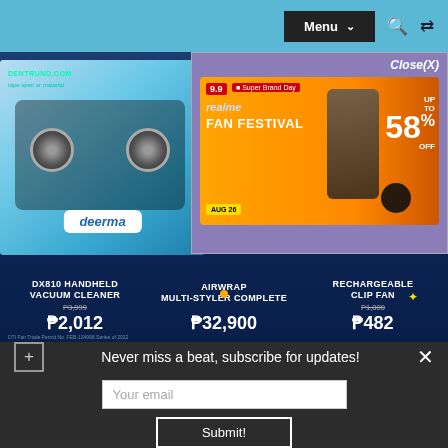Menu
[Figure (screenshot): Product banner showing DX810 Handheld Vacuum Cleaner at P2,012 (was P3,999), Airwrap Multi-Styler Complete at P32,900, and Rechargeable Clip Fan at P482 (was P1,000), set on a dark blue background with a cassette tape image and Deerma brand logo. An ad overlay shows Realme Fan Festival 9.9 Super Brand Day up to 58% off.]
DX810 HANDHELD VACUUM CLEANER
P3,999 P2,012
AIRWRAP MULTI-STYLER COMPLETE
P32,900
RECHARGEABLE CLIP FAN
P1,000 P482
DTI Fair Trade Permit No. FEB-134998 Series of 2022
Never miss a beat, subscribe for updates!
Your email
Submit!